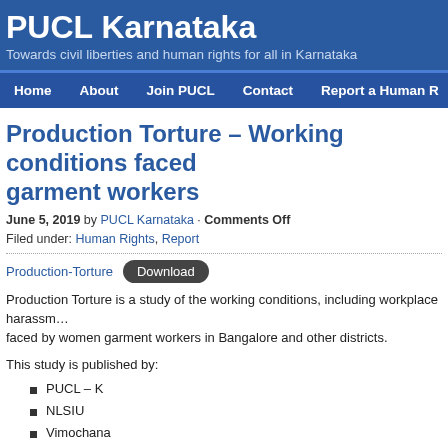PUCL Karnataka
Towards civil liberties and human rights for all in Karnataka
Home | About | Join PUCL | Contact | Report a Human R
Production Torture – Working conditions faced garment workers
June 5, 2019 by PUCL Karnataka · Comments Off
Filed under: Human Rights, Report
Production-Torture  Download
Production Torture is a study of the working conditions, including workplace harassment faced by women garment workers in Bangalore and other districts.
This study is published by:
PUCL – K
NLSIU
Vimochana
The Alternative Law Forum